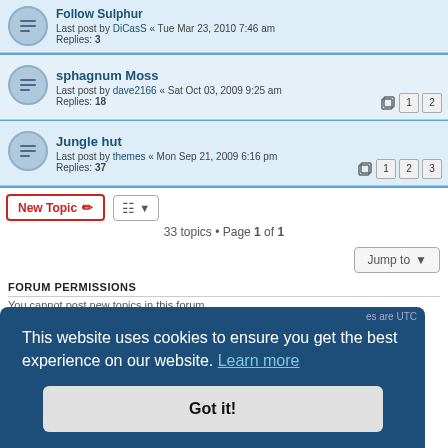Follow Sulphur - Last post by DiCasS « Tue Mar 23, 2010 7:46 am - Replies: 3
sphagnum Moss - Last post by dave2166 « Sat Oct 03, 2009 9:25 am - Replies: 18
Jungle hut - Last post by themes « Mon Sep 21, 2009 6:16 pm - Replies: 37
33 topics • Page 1 of 1
FORUM PERMISSIONS
You cannot post new topics in this forum
This website uses cookies to ensure you get the best experience on our website. Learn more
Got it!